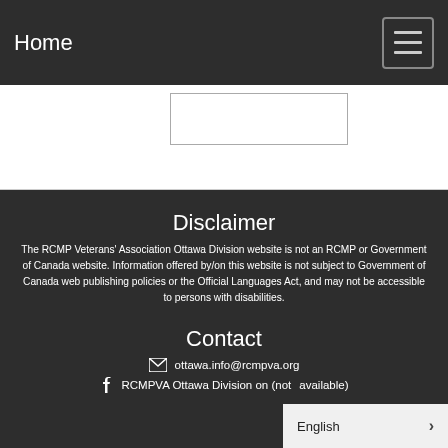Home
Disclaimer
The RCMP Veterans' Association Ottawa Division website is not an RCMP or Government of Canada website. Information offered by/on this website is not subject to Government of Canada web publishing policies or the Official Languages Act, and may not be accessible to persons with disabilities.
Contact
ottawa.info@rcmpva.org
RCMPVA Ottawa Division on (not available)
English